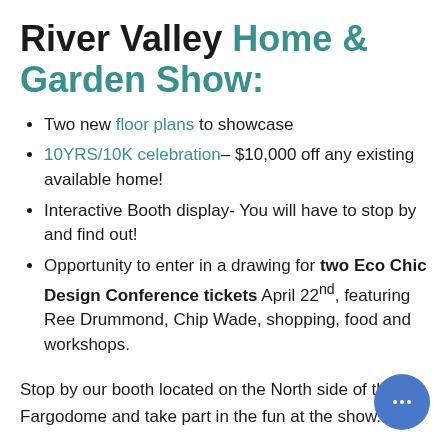River Valley Home & Garden Show:
Two new floor plans to showcase
10YRS/10K celebration– $10,000 off any existing available home!
Interactive Booth display- You will have to stop by and find out!
Opportunity to enter in a drawing for two Eco Chic Design Conference tickets April 22nd, featuring Ree Drummond, Chip Wade, shopping, food and workshops.
Stop by our booth located on the North side of the Fargodome and take part in the fun at the show.